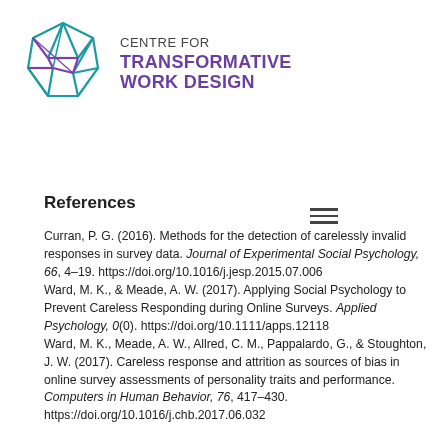[Figure (logo): Centre for Transformative Work Design logo with geometric polygon shape in teal/blue and purple, and text 'CENTRE FOR TRANSFORMATIVE WORK DESIGN']
References
Curran, P. G. (2016). Methods for the detection of carelessly invalid responses in survey data. Journal of Experimental Social Psychology, 66, 4–19. https://doi.org/10.1016/j.jesp.2015.07.006
Ward, M. K., & Meade, A. W. (2017). Applying Social Psychology to Prevent Careless Responding during Online Surveys. Applied Psychology, 0(0). https://doi.org/10.1111/apps.12118
Ward, M. K., Meade, A. W., Allred, C. M., Pappalardo, G., & Stoughton, J. W. (2017). Careless response and attrition as sources of bias in online survey assessments of personality traits and performance. Computers in Human Behavior, 76, 417–430. https://doi.org/10.1016/j.chb.2017.06.032